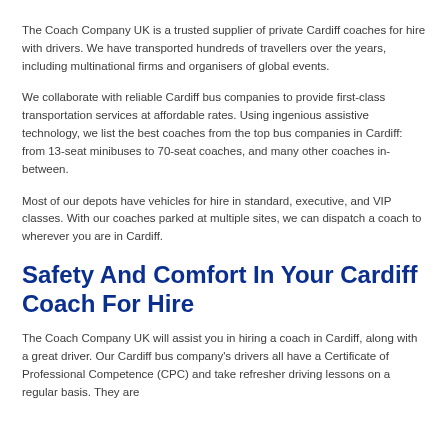The Coach Company UK is a trusted supplier of private Cardiff coaches for hire with drivers. We have transported hundreds of travellers over the years, including multinational firms and organisers of global events.
We collaborate with reliable Cardiff bus companies to provide first-class transportation services at affordable rates. Using ingenious assistive technology, we list the best coaches from the top bus companies in Cardiff: from 13-seat minibuses to 70-seat coaches, and many other coaches in-between.
Most of our depots have vehicles for hire in standard, executive, and VIP classes. With our coaches parked at multiple sites, we can dispatch a coach to wherever you are in Cardiff.
Safety And Comfort In Your Cardiff Coach For Hire
The Coach Company UK will assist you in hiring a coach in Cardiff, along with a great driver. Our Cardiff bus company's drivers all have a Certificate of Professional Competence (CPC) and take refresher driving lessons on a regular basis. They are